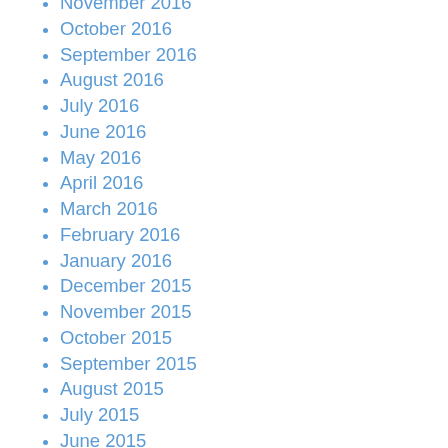November 2016
October 2016
September 2016
August 2016
July 2016
June 2016
May 2016
April 2016
March 2016
February 2016
January 2016
December 2015
November 2015
October 2015
September 2015
August 2015
July 2015
June 2015
May 2015
April 2015
March 2015
January 2015